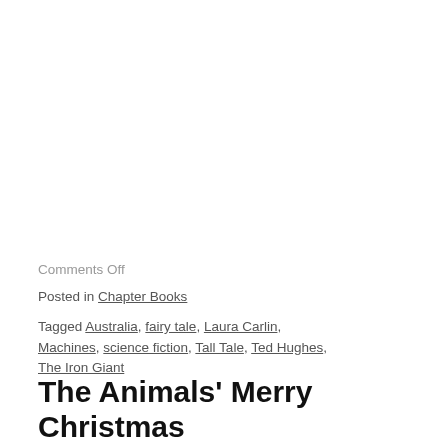Comments Off
Posted in Chapter Books
Tagged Australia, fairy tale, Laura Carlin, Machines, science fiction, Tall Tale, Ted Hughes, The Iron Giant
The Animals' Merry Christmas